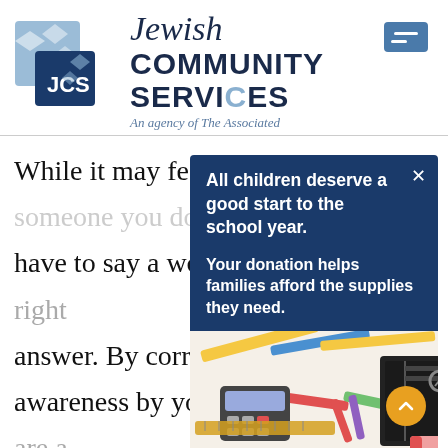[Figure (logo): Jewish Community Services logo with JCS in dark blue box and light blue geometric shapes]
Jewish COMMUNITY SERVICES
An agency of The Associated
While it may feel easy to tell someone you don't have to say a word," speaking up is the right answer. By correcting awareness by your body, show you are a problem-solver, even if you are the one who caused the problem in the first place. So, come clean.
[Figure (screenshot): Popup overlay with dark blue background containing text: 'All children deserve a good start to the school year. Your donation helps families afford the supplies they need.' with an image of school supplies below.]